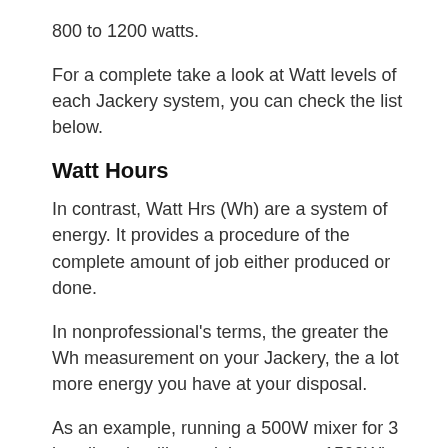800 to 1200 watts.
For a complete take a look at Watt levels of each Jackery system, you can check the list below.
Watt Hours
In contrast, Watt Hrs (Wh) are a system of energy. It provides a procedure of the complete amount of job either produced or done.
In nonprofessional's terms, the greater the Wh measurement on your Jackery, the a lot more energy you have at your disposal.
As an example, running a 500W mixer for 3 hrs directly will certainly consume 1500Wh of power. I mean, you 'd have to REALLY be